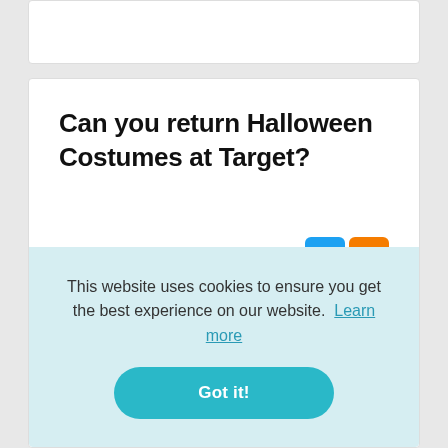Can you return Halloween Costumes at Target?
The Target return policy is that most unopened items in new condition can be returned within 90 days for a refund or an
This website uses cookies to ensure you get the best experience on our website. Learn more
Got it!